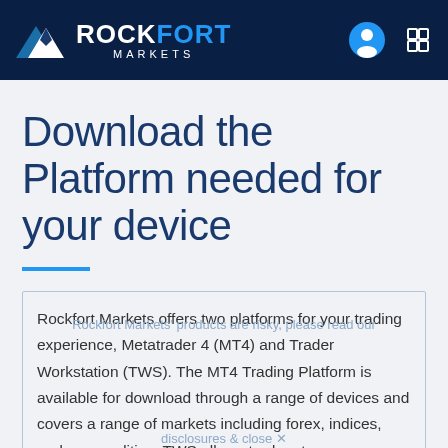Rockfort Markets
Download the Platform needed for your device
Rockfort Markets offers two platforms for your trading experience, Metatrader 4 (MT4) and Trader Workstation (TWS). The MT4 Trading Platform is available for download through a range of devices and covers a range of markets including forex, indices, and commodities. TWS allows traders to